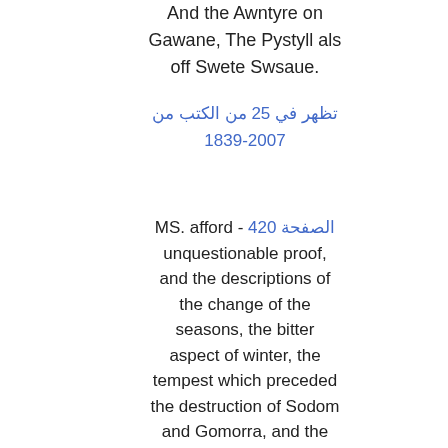And the Awntyre on Gawane, The Pystyll als off Swete Swsaue.
تظهر في 25 من الكتب من 1839-2007
MS. afford - الصفحة 420 unquestionable proof, and the descriptions of the change of the seasons, the bitter aspect of winter, the tempest which preceded the destruction of Sodom and Gomorra, and the sea-storm occasioned by the wickedness of Jonas, are equal to any similar passages in Douglas or Spenser.
تظهر في 8 من الكتب من 1839-1887